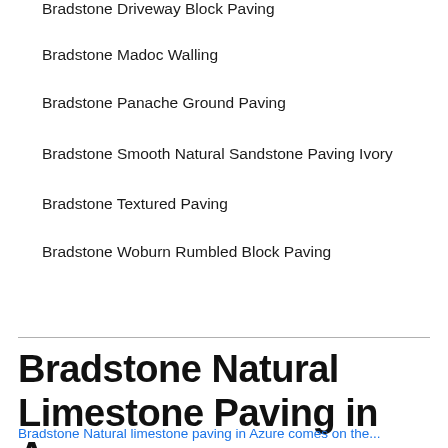Bradstone Driveway Block Paving
Bradstone Madoc Walling
Bradstone Panache Ground Paving
Bradstone Smooth Natural Sandstone Paving Ivory
Bradstone Textured Paving
Bradstone Woburn Rumbled Block Paving
Bradstone Natural Limestone Paving in Azure
Bradstone Natural limestone paving in Azure comes on the...